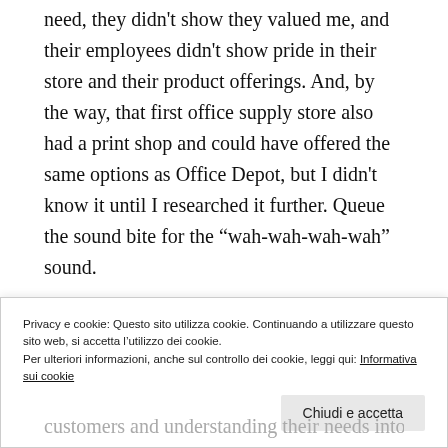need, they didn't show they valued me, and their employees didn't show pride in their store and their product offerings. And, by the way, that first office supply store also had a print shop and could have offered the same options as Office Depot, but I didn't know it until I researched it further. Queue the sound bite for the “wah-wah-wah-wah” sound.
Subsequently, I contacted Office Depot and obtained permission to use their name in this blog as the experience
Privacy e cookie: Questo sito utilizza cookie. Continuando a utilizzare questo sito web, si accetta l’utilizzo dei cookie.
Per ulteriori informazioni, anche sul controllo dei cookie, leggi qui: Informativa sui cookie
customers and understanding their needs into their